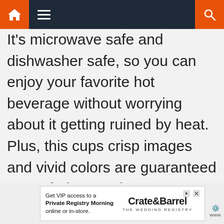Navigation bar with home, menu, and search icons
It's microwave safe and dishwasher safe, so you can enjoy your favorite hot beverage without worrying about it getting ruined by heat. Plus, this cups crisp images and vivid colors are guaranteed not to fade over time.
[Figure (screenshot): Advertisement banner for Crate & Barrel wedding registry. Text reads: Get VIP access to a Private Registry Morning online or in-store. Logo shows Crate&Barrel THE WEDDING REGISTRY. Includes play and close buttons.]